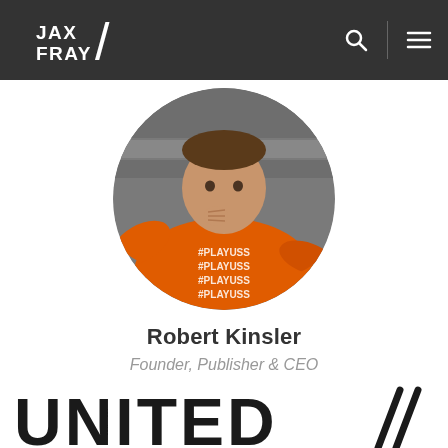JAX FRAY
[Figure (photo): Circular profile photo of Robert Kinsler wearing an orange long-sleeve shirt with #PLAYUSS repeated on it, holding something near his chin, against a gray background.]
Robert Kinsler
Founder, Publisher & CEO
[Figure (logo): UNITED with double forward slash logo at the bottom of the page, in bold black text]